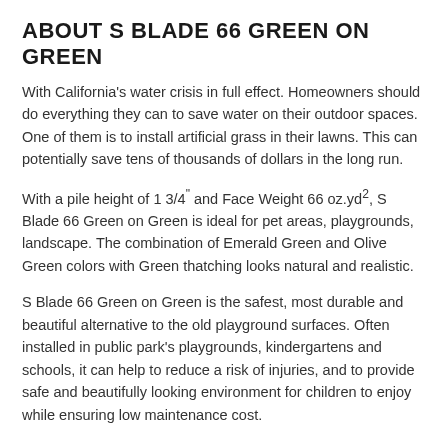ABOUT S BLADE 66 GREEN ON GREEN
With California's water crisis in full effect. Homeowners should do everything they can to save water on their outdoor spaces. One of them is to install artificial grass in their lawns. This can potentially save tens of thousands of dollars in the long run.
With a pile height of 1 3/4" and Face Weight 66 oz.yd2, S Blade 66 Green on Green is ideal for pet areas, playgrounds, landscape. The combination of Emerald Green and Olive Green colors with Green thatching looks natural and realistic.
S Blade 66 Green on Green is the safest, most durable and beautiful alternative to the old playground surfaces. Often installed in public park's playgrounds, kindergartens and schools, it can help to reduce a risk of injuries, and to provide safe and beautifully looking environment for children to enjoy while ensuring low maintenance cost.
An artificial grass has